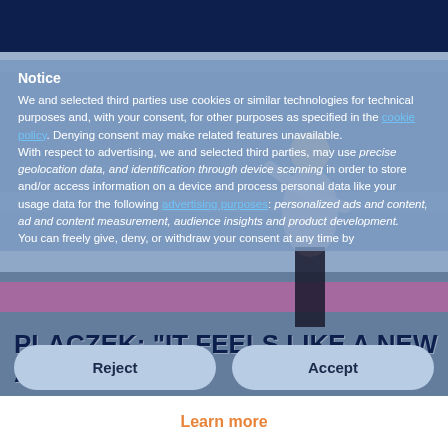[Figure (photo): Sports photo background showing a young male athlete in a white shirt performing at an outdoor stadium with crowd in the background]
Notice
We and selected third parties use cookies or similar technologies for technical purposes and, with your consent, for other purposes as specified in the cookie policy. Denying consent may make related features unavailable.
With respect to advertising, we and selected third parties, may use precise geolocation data, and identification through device scanning in order to store and/or access information on a device and process personal data like your usage data for the following advertising purposes: personalized ads and content, ad and content measurement, audience insights and product development.
You can freely give, deny, or withdraw your consent at any time by
PLACZEK: "IT FEELS LIKE A NEW ADVENTURE"
Reject
Accept
Learn more